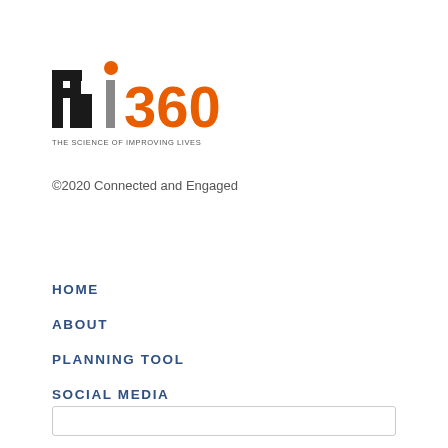[Figure (logo): FHI 360 logo with orange dot above letter i, and tagline 'THE SCIENCE OF IMPROVING LIVES']
©2020 Connected and Engaged
HOME
ABOUT
PLANNING TOOL
SOCIAL MEDIA